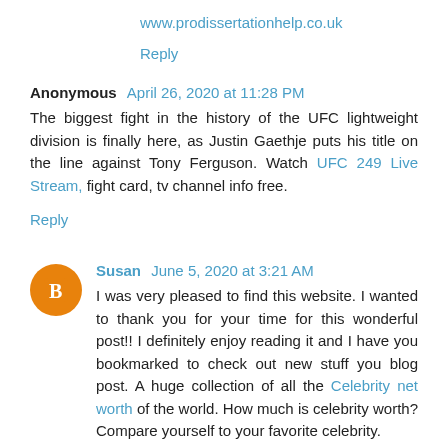www.prodissertationhelp.co.uk
Reply
Anonymous  April 26, 2020 at 11:28 PM
The biggest fight in the history of the UFC lightweight division is finally here, as Justin Gaethje puts his title on the line against Tony Ferguson. Watch UFC 249 Live Stream, fight card, tv channel info free.
Reply
Susan  June 5, 2020 at 3:21 AM
I was very pleased to find this website. I wanted to thank you for your time for this wonderful post!! I definitely enjoy reading it and I have you bookmarked to check out new stuff you blog post. A huge collection of all the Celebrity net worth of the world. How much is celebrity worth? Compare yourself to your favorite celebrity.